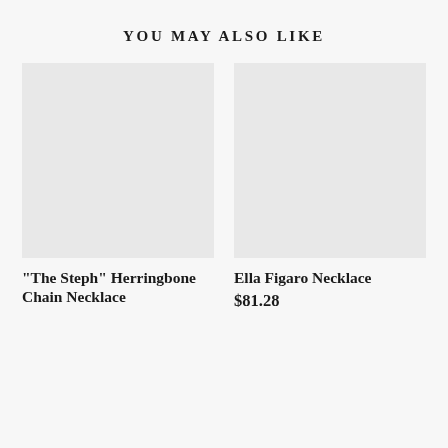YOU MAY ALSO LIKE
[Figure (photo): Product image placeholder for 'The Steph' Herringbone Chain Necklace — light gray rectangle]
"The Steph" Herringbone Chain Necklace
[Figure (photo): Product image placeholder for Ella Figaro Necklace — light gray rectangle]
Ella Figaro Necklace
$81.28